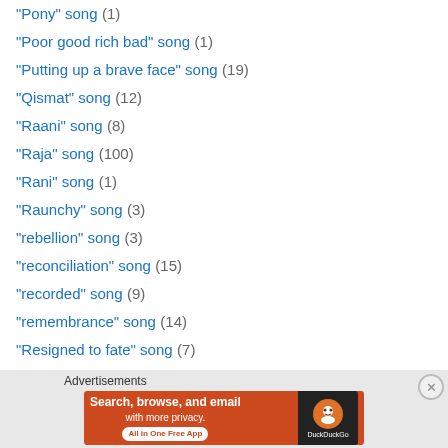"Pony" song (1)
"Poor good rich bad" song (1)
"Putting up a brave face" song (19)
"Qismat" song (12)
"Raani" song (8)
"Raja" song (100)
"Rani" song (1)
"Raunchy" song (3)
"rebellion" song (3)
"reconciliation" song (15)
"recorded" song (9)
"remembrance" song (14)
"Resigned to fate" song (7)
"saawan" song (112)
"Sacrificing in love" song (7)
"sahelis teasing a lady" song (2)
"Sales pitch" song (26)
[Figure (infographic): DuckDuckGo advertisement banner: 'Search, browse, and email with more privacy. All in One Free App' with DuckDuckGo logo on dark background]